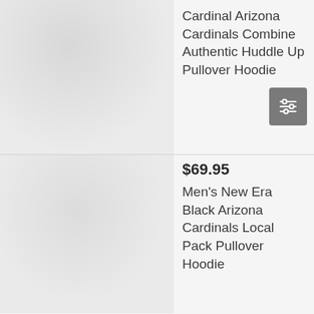[Figure (photo): Product image placeholder for Cardinal Arizona Cardinals hoodie, blurred/grayscale]
Cardinal Arizona Cardinals Combine Authentic Huddle Up Pullover Hoodie
[Figure (other): Filter/settings icon with three horizontal sliders on dark gray background]
[Figure (photo): Product image placeholder for Men's New Era Black Arizona Cardinals Local Pack Pullover Hoodie, blurred/grayscale]
$69.95
Men's New Era Black Arizona Cardinals Local Pack Pullover Hoodie